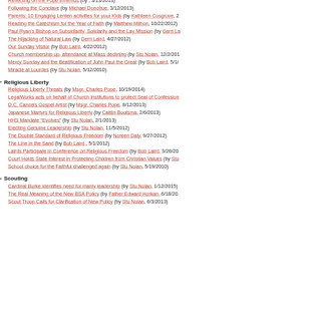Reflecting on the Pope Emeritus (by , 3/13/2013)
Following the Conclave (by Michael Donohue, 3/12/2013)
Parents: 10 Engaging Lenten activities for your Kids (by Kathleen Cosgrove, 2/...)
Reading the Catechism for the Year of Faith (by Matthew Milhon, 10/22/2012)
Paul Ryan's Bishop on Subsidiarity, Solidarity and the Lay Mission (by Gerri La...)
The Hijacking of Natural Law (by Gerri Laird, 4/27/2012)
Our Sunday Visitor (by Bob Laird, 4/22/2012)
Church membership up, attendance at Mass declining (by Stu Nolan, 12/2/201...)
Mercy Sunday and the Beatification of John Paul the Great (by Bob Laird, 5/1/...)
Miracle at Lourdes (by Stu Nolan, 5/12/2010)
Religious Liberty
Religious Liberty Threats (by Msgr. Charles Pope, 10/19/2014)
LegalWorks acts on behalf of Church Institutions to protect Seal of Confession...
D.C. Cancels Gospel Artist (by Msgr. Charles Pope, 8/12/2013)
Japanese Martyrs for Religious Liberty (by Caitlin Bootsma, 2/6/2013)
HHS Mandate "Evolves" (by Stu Nolan, 2/1/2013)
Electing Genuine Leadership (by Stu Nolan, 11/5/2012)
The Double Standard of Religious Freedom (by Noreen Daly, 9/27/2012)
The Line in the Sand (by Bob Laird , 5/1/2012)
Lairds Participate in Conference on Religious Freedom (by Bob Laird, 3/26/20...)
Court Holds State Interest in Protecting Children from Christian Values (by Stu...)
School choice for the Faithful challenged again (by Stu Nolan, 5/19/2010)
Scouting
Cardinal Burke identifies need for manly leadership (by Stu Nolan, 1/12/2015)
The Real Meaning of the New BSA Policy (by Father Edward Horkan, 6/18/20...)
Scout Troop Calls for Clarification of New Policy (by Stu Nolan, 6/3/2013)